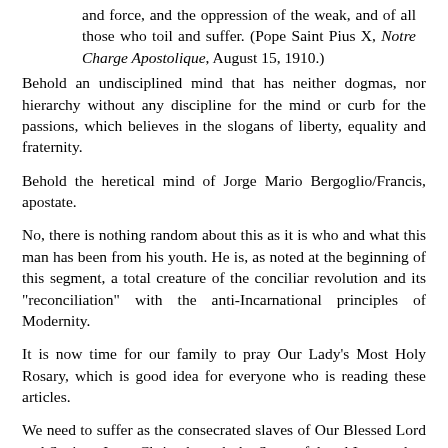and force, and the oppression of the weak, and of all those who toil and suffer. (Pope Saint Pius X, Notre Charge Apostolique, August 15, 1910.)
Behold an undisciplined mind that has neither dogmas, nor hierarchy without any discipline for the mind or curb for the passions, which believes in the slogans of liberty, equality and fraternity.
Behold the heretical mind of Jorge Mario Bergoglio/Francis, apostate.
No, there is nothing random about this as it is who and what this man has been from his youth. He is, as noted at the beginning of this segment, a total creature of the conciliar revolution and its "reconciliation" with the anti-Incarnational principles of Modernity.
It is now time for our family to pray Our Lady's Most Holy Rosary, which is good idea for everyone who is reading these articles.
We need to suffer as the consecrated slaves of Our Blessed Lord and Saviour Jesus Christ through the Sorrowful and Immaculate Heart of Mary. And it will